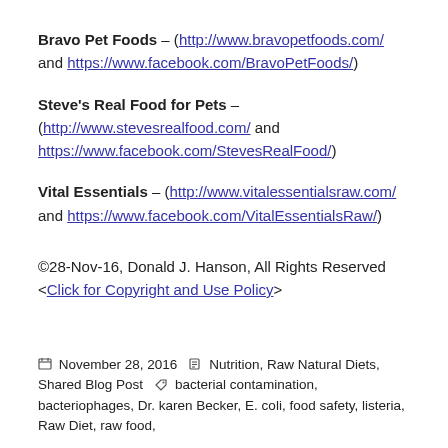Bravo Pet Foods – (http://www.bravopetfoods.com/ and https://www.facebook.com/BravoPetFoods/)
Steve's Real Food for Pets – (http://www.stevesrealfood.com/ and https://www.facebook.com/StevesRealFood/)
Vital Essentials – (http://www.vitalessentialsraw.com/ and https://www.facebook.com/VitalEssentialsRaw/)
©28-Nov-16, Donald J. Hanson, All Rights Reserved <Click for Copyright and Use Policy>
November 28, 2016  Nutrition, Raw Natural Diets, Shared Blog Post  bacterial contamination, bacteriophages, Dr. karen Becker, E. coli, food safety, listeria, Raw Diet, raw food,